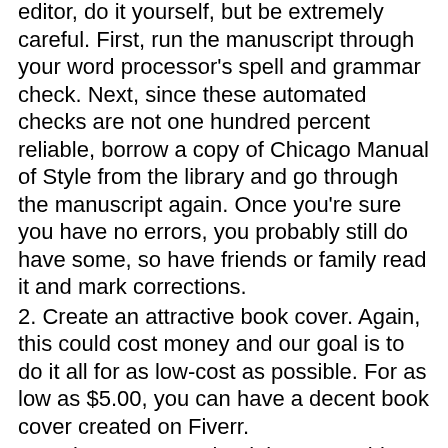editor, do it yourself, but be extremely careful. First, run the manuscript through your word processor's spell and grammar check. Next, since these automated checks are not one hundred percent reliable, borrow a copy of Chicago Manual of Style from the library and go through the manuscript again. Once you're sure you have no errors, you probably still do have some, so have friends or family read it and mark corrections.
2. Create an attractive book cover. Again, this could cost money and our goal is to do it all for as low-cost as possible. For as low as $5.00, you can have a decent book cover created on Fiverr.
3. Make sure your ebook is reasonably priced. You can't have your ebook listed at $80, it's just not going to sell. Most ebooks are in the $0-$10 price range. Offering your ebook for free on Amazon for free for a few days is a great way to get the word out about your book and increase reviews.
4. Market your book through mass social marketing. Build a Facebook page for your book. Join Linked-In groups and share your